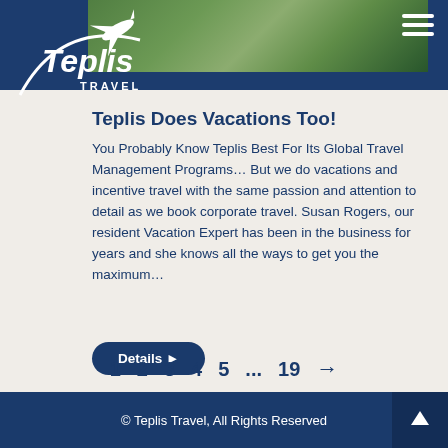[Figure (logo): Teplis Travel logo with airplane icon, white text on dark blue background]
Teplis Does Vacations Too!
You Probably Know Teplis Best For Its Global Travel Management Programs… But we do vacations and incentive travel with the same passion and attention to detail as we book corporate travel. Susan Rogers, our resident Vacation Expert has been in the business for years and she knows all the ways to get you the maximum…
Details ▶
1  2  3  4  5  ...  19  →
© Teplis Travel, All Rights Reserved